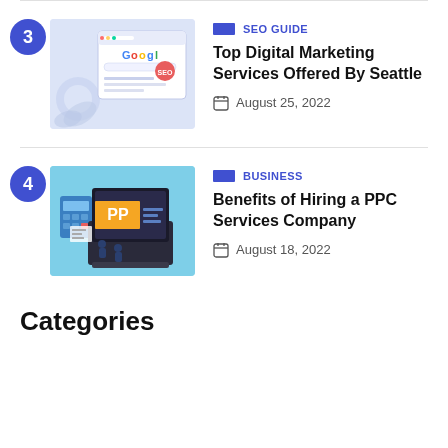[Figure (illustration): Article card #3: SEO guide thumbnail showing Google browser and gear icons on light blue/purple background, with number badge 3, category label SEO GUIDE, title Top Digital Marketing Services Offered By Seattle, date August 25, 2022]
Top Digital Marketing Services Offered By Seattle
August 25, 2022
[Figure (illustration): Article card #4: Business thumbnail showing laptop with PPC text and calculator on teal background, with number badge 4, category label BUSINESS, title Benefits of Hiring a PPC Services Company, date August 18, 2022]
Benefits of Hiring a PPC Services Company
August 18, 2022
Categories